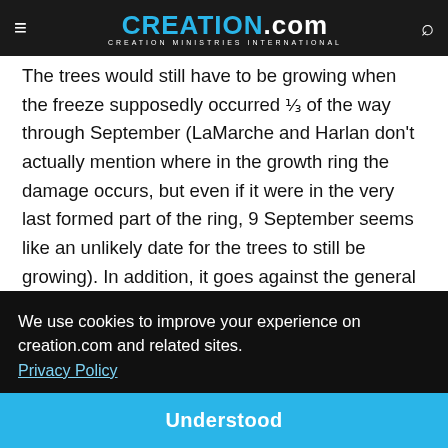CREATION.com — CREATION MINISTRIES INTERNATIONAL
The trees would still have to be growing when the freeze supposedly occurred ⅓ of the way through September (LaMarche and Harlan don't actually mention where in the growth ring the damage occurs, but even if it were in the very last formed part of the ring, 9 September seems like an unlikely date for the trees to still be growing). In addition, it goes against the general rule that frost damage usually occurs early in [the season] ... and ... [other text] ... that could have caused frost damage, but LaMarche and
We use cookies to improve your experience on creation.com and related sites. Privacy Policy
Understood